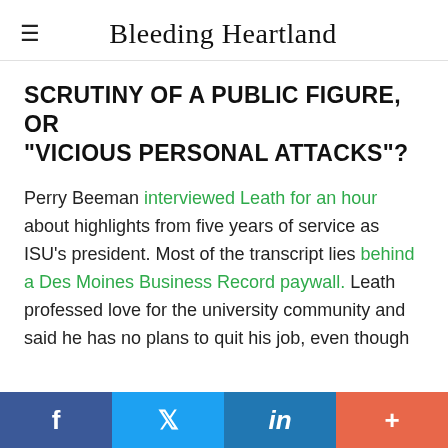Bleeding Heartland
SCRUTINY OF A PUBLIC FIGURE, OR "VICIOUS PERSONAL ATTACKS"?
Perry Beeman interviewed Leath for an hour about highlights from five years of service as ISU's president. Most of the transcript lies behind a Des Moines Business Record paywall. Leath professed love for the university community and said he has no plans to quit his job, even though